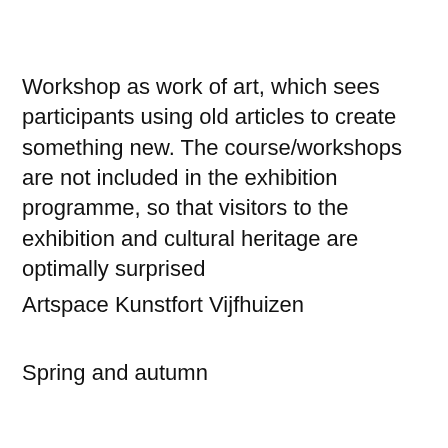Workshop as work of art, which sees participants using old articles to create something new. The course/workshops are not included in the exhibition programme, so that visitors to the exhibition and cultural heritage are optimally surprised
Artspace Kunstfort Vijfhuizen
Spring and autumn